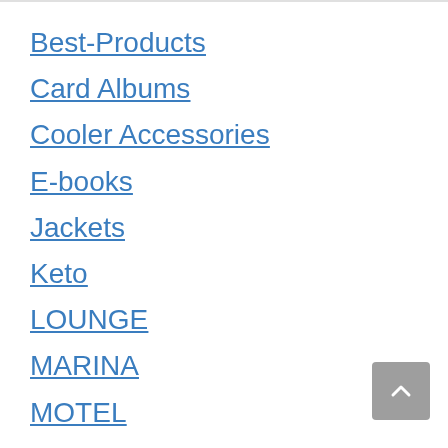Best-Products
Card Albums
Cooler Accessories
E-books
Jackets
Keto
LOUNGE
MARINA
MOTEL
Pants
RESTAURANT
Reviews